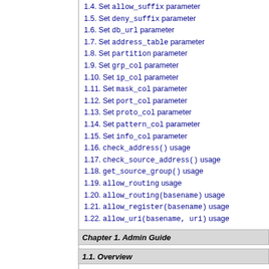1.4. Set allow_suffix parameter
1.5. Set deny_suffix parameter
1.6. Set db_url parameter
1.7. Set address_table parameter
1.8. Set partition parameter
1.9. Set grp_col parameter
1.10. Set ip_col parameter
1.11. Set mask_col parameter
1.12. Set port_col parameter
1.13. Set proto_col parameter
1.14. Set pattern_col parameter
1.15. Set info_col parameter
1.16. check_address() usage
1.17. check_source_address() usage
1.18. get_source_group() usage
1.19. allow_routing usage
1.20. allow_routing(basename) usage
1.21. allow_register(basename) usage
1.22. allow_uri(basename, uri) usage
Chapter 1. Admin Guide
1.1. Overview
1.1.1. Call Routing